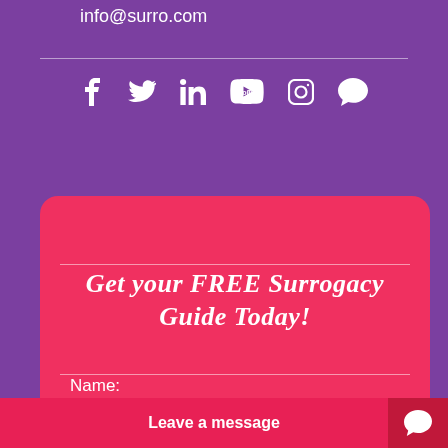info@surro.com
[Figure (infographic): Social media icons row: Facebook, Twitter, LinkedIn, YouTube, Instagram, Chat bubble — all white on purple background]
Get your FREE Surrogacy Guide Today!
Name:
Leave a message